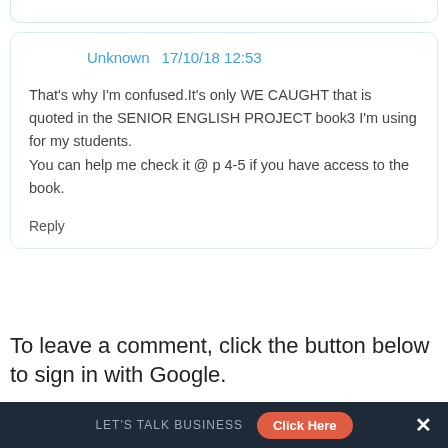Unknown  17/10/18 12:53
That's why I'm confused.It's only WE CAUGHT that is quoted in the SENIOR ENGLISH PROJECT book3 I'm using for my students.
You can help me check it @ p 4-5 if you have access to the book.
Reply
To leave a comment, click the button below to sign in with Google.
SIGN IN WITH GOOGLE
LET'S TALK BUSINESS  Click Here  X